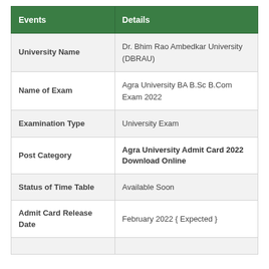| Events | Details |
| --- | --- |
| University Name | Dr. Bhim Rao Ambedkar University (DBRAU) |
| Name of Exam | Agra University BA B.Sc B.Com Exam 2022 |
| Examination Type | University Exam |
| Post Category | Agra University Admit Card 2022 Download Online |
| Status of Time Table | Available Soon |
| Admit Card Release Date | February 2022 { Expected } |
|  |  |